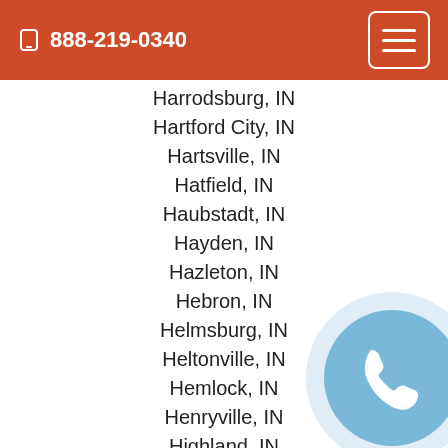📱 888-219-0340
Harrodsburg, IN
Hartford City, IN
Hartsville, IN
Hatfield, IN
Haubstadt, IN
Hayden, IN
Hazleton, IN
Hebron, IN
Helmsburg, IN
Heltonville, IN
Hemlock, IN
Henryville, IN
Highland, IN
Hillisburg, IN
Hillsboro, IN
Hillsdale, IN
Hoagland, IN
Hobart, IN
[Figure (illustration): Round phone/call button icon with light blue background and white phone handset symbol]